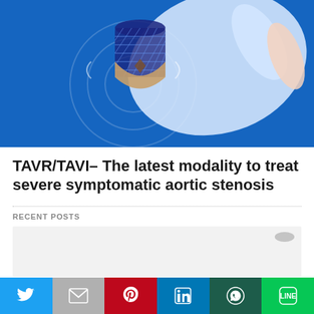[Figure (illustration): Medical illustration on blue background showing a gloved hand holding a TAVR/TAVI heart valve prosthesis (stent with tissue valve), with circular target graphics in the background.]
TAVR/TAVI- The latest modality to treat severe symptomatic aortic stenosis
RECENT POSTS
[Figure (other): Partially visible recent post card thumbnail with arrow icon.]